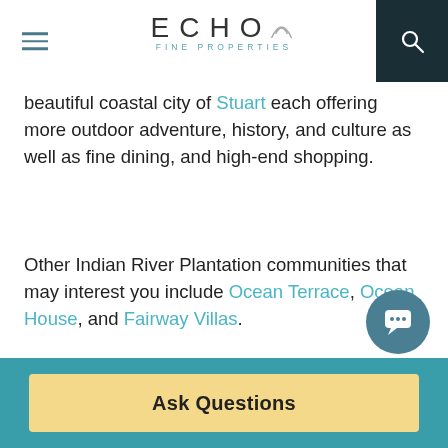ECHO FINE PROPERTIES
beautiful coastal city of Stuart each offering more outdoor adventure, history, and culture as well as fine dining, and high-end shopping.
Other Indian River Plantation communities that may interest you include Ocean Terrace, Ocean House, and Fairway Villas.
Ask Questions